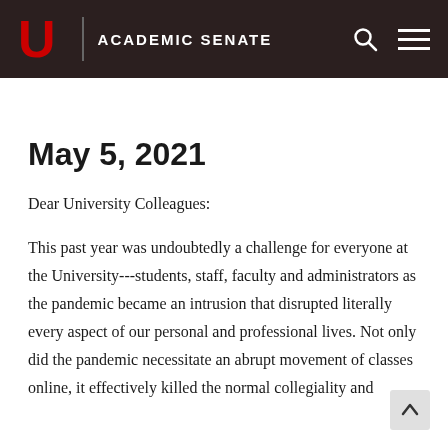U ACADEMIC SENATE
May 5, 2021
Dear University Colleagues:
This past year was undoubtedly a challenge for everyone at the University---students, staff, faculty and administrators as the pandemic became an intrusion that disrupted literally every aspect of our personal and professional lives. Not only did the pandemic necessitate an abrupt movement of classes online, it effectively killed the normal collegiality and